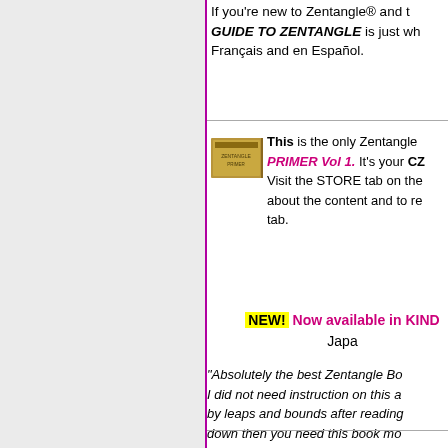If you're new to Zentangle® and t... GUIDE TO ZENTANGLE is just wh... Français and en Español.
[Figure (photo): Small thumbnail image of a book (Zentangle Primer Vol 1) with golden/olive colored cover]
This is the only Zentangle PRIMER Vol 1. It's your CZ... Visit the STORE tab on the... about the content and to re... tab.
NEW! Now available in KIND... Japa...
"Absolutely the best Zentangle Bo... I did not need instruction on this a... by leaps and bounds after reading... down then you need this book mo...